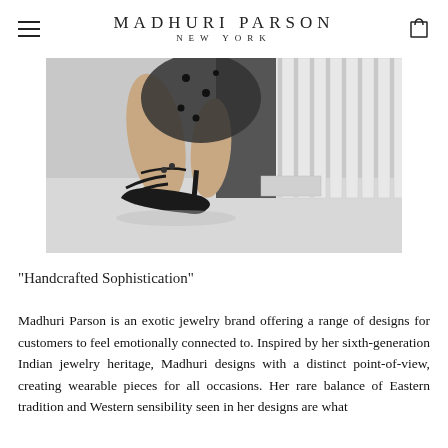MADHURI PARSON NEW YORK
[Figure (photo): Close-up photo of a person's legs wearing black strappy high-heel sandals and a polka-dot skirt, standing near white vertical architectural elements/radiator.]
"Handcrafted Sophistication"
Madhuri Parson is an exotic jewelry brand offering a range of designs for customers to feel emotionally connected to. Inspired by her sixth-generation Indian jewelry heritage, Madhuri designs with a distinct point-of-view, creating wearable pieces for all occasions. Her rare balance of Eastern tradition and Western sensibility seen in her designs are what